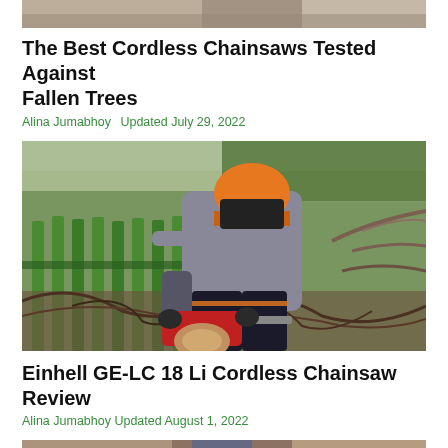[Figure (photo): Top partial image strip of chainsaw-related content, cropped at top of page]
The Best Cordless Chainsaws Tested Against Fallen Trees
Alina Jumabhoy   Updated July 29, 2022
[Figure (photo): Person in orange helmet and black/grey work clothes using a red cordless chainsaw to cut through branches and logs near a green wooden fence outdoors]
Einhell GE-LC 18 Li Cordless Chainsaw Review
Alina Jumabhoy   Updated August 1, 2022
[Figure (photo): Bottom partial image strip, partially visible at bottom of page, showing outdoor chainsaw scene]